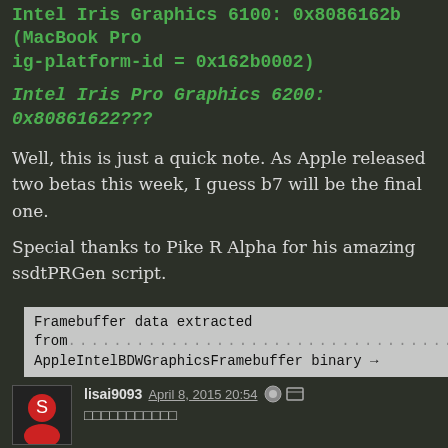Intel Iris Graphics 6100: 0x8086162b (MacBook Pro ig-platform-id = 0x162b0002)
Intel Iris Pro Graphics 6200: 0x80861622???
Well, this is just a quick note. As Apple released two betas this week, I guess b7 will be the final one.
Special thanks to Pike R Alpha for his amazing ssdtPRGen script.
Framebuffer data extracted from AppleIntelBDWGraphicsFramebuffer binary →
lisai9093  April 8, 2015 20:54
□□□□□□□□□□□
Reply
FireWolf  Write  April 9, 2015 01:28